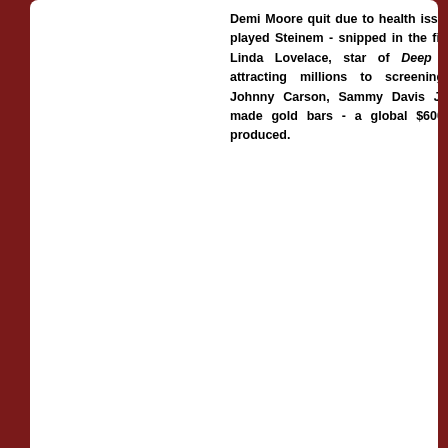Demi Moore quit due to health issues. M played Steinem - snipped in the final cu Linda Lovelace, star of Deep Throat attracting millions to screenings... i Johnny Carson, Sammy Davis Jr, Jac made gold bars - a global $600m-plu produced.
Copyright © 2022 Crawley's Casting Calls. All Rig Joomla! is Free Software released under the GNU
[Figure (photo): Advertisement banner showing a dark duffel bag with Joomla logo, text reads 'Look Sensati' and 'gear from th']